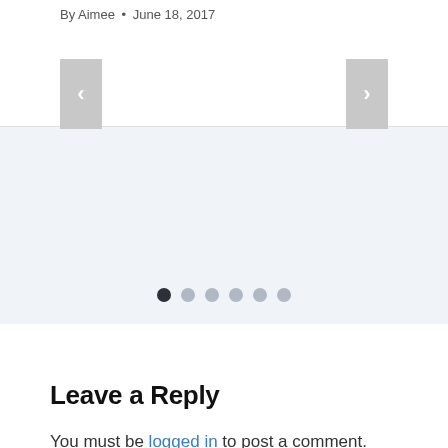By Aimee • June 18, 2017
[Figure (other): Slideshow navigation with left and right arrow buttons and pagination dots (6 dots, first dot active/dark)]
Leave a Reply
You must be logged in to post a comment.